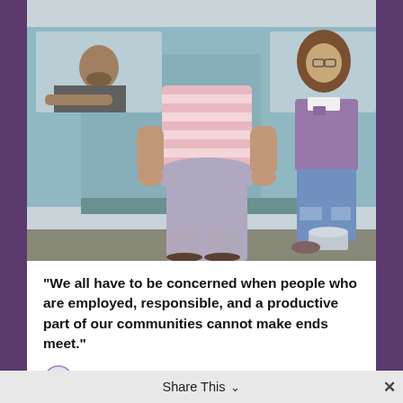[Figure (photo): Photograph of a family standing outside a pickup truck. A heavyset woman in a pink striped shirt and gray capri pants with sandals stands in the center. A teenage girl in a purple sleeveless top and ripped jeans sits on a bucket to the right. A man is visible leaning out of the truck window on the left.]
"We all have to be concerned when people who are employed, responsible, and a productive part of our communities cannot make ends meet."
FP  15 hours ago
Share This  ∨  ×